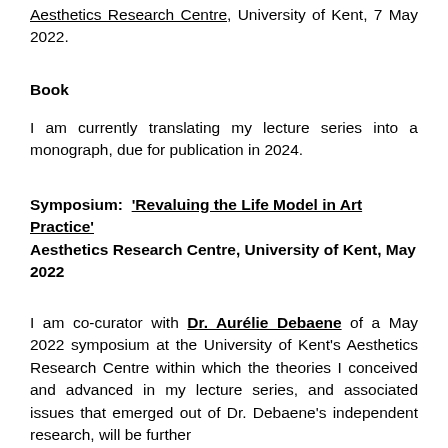Aesthetics Research Centre, University of Kent, 7 May 2022.
Book
I am currently translating my lecture series into a monograph, due for publication in 2024.
Symposium: 'Revaluing the Life Model in Art Practice' Aesthetics Research Centre, University of Kent, May 2022
I am co-curator with Dr. Aurélie Debaene of a May 2022 symposium at the University of Kent's Aesthetics Research Centre within which the theories I conceived and advanced in my lecture series, and associated issues that emerged out of Dr. Debaene's independent research, will be further